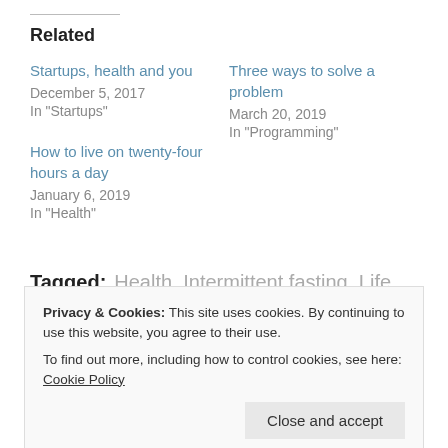Related
Startups, health and you
December 5, 2017
In "Startups"
Three ways to solve a problem
March 20, 2019
In "Programming"
How to live on twenty-four hours a day
January 6, 2019
In "Health"
Tagged: Health, Intermittent fasting, Life
Privacy & Cookies: This site uses cookies. By continuing to use this website, you agree to their use.
To find out more, including how to control cookies, see here: Cookie Policy